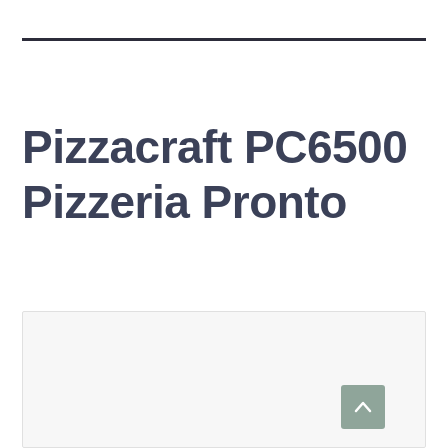Pizzacraft PC6500 Pizzeria Pronto
[Figure (other): Light gray content box at the bottom of the page with a scroll-to-top button (sage green square with upward chevron arrow) in the bottom-right corner.]